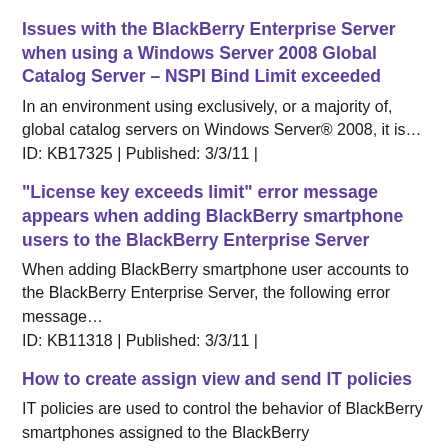Issues with the BlackBerry Enterprise Server when using a Windows Server 2008 Global Catalog Server – NSPI Bind Limit exceeded
In an environment using exclusively, or a majority of, global catalog servers on Windows Server® 2008, it is…
ID: KB17325 | Published: 3/3/11 |
“License key exceeds limit” error message appears when adding BlackBerry smartphone users to the BlackBerry Enterprise Server
When adding BlackBerry smartphone user accounts to the BlackBerry Enterprise Server, the following error message…
ID: KB11318 | Published: 3/3/11 |
How to create assign view and send IT policies
IT policies are used to control the behavior of BlackBerry smartphones assigned to the BlackBerry